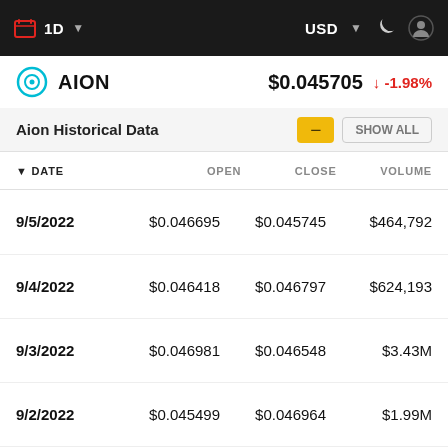1D  USD
AION  $0.045705  -1.98%
Aion Historical Data
| DATE | OPEN | CLOSE | VOLUME |
| --- | --- | --- | --- |
| 9/5/2022 | $0.046695 | $0.045745 | $464,792 |
| 9/4/2022 | $0.046418 | $0.046797 | $624,193 |
| 9/3/2022 | $0.046981 | $0.046548 | $3.43M |
| 9/2/2022 | $0.045499 | $0.046964 | $1.99M |
| 9/1/2022 | $0.045622 | $0.045698 | $971,892 |